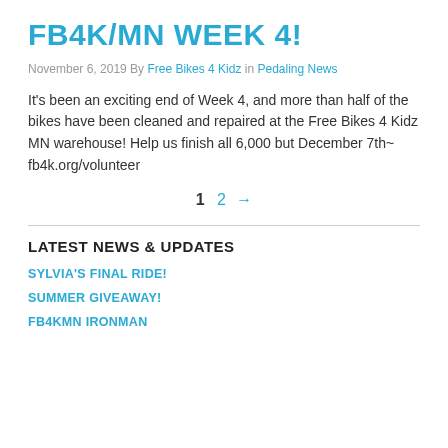FB4K/MN WEEK 4!
November 6, 2019 By Free Bikes 4 Kidz in Pedaling News
It's been an exciting end of Week 4, and more than half of the bikes have been cleaned and repaired at the Free Bikes 4 Kidz MN warehouse! Help us finish all 6,000 but December 7th~ fb4k.org/volunteer
1  2  →
LATEST NEWS & UPDATES
SYLVIA'S FINAL RIDE!
SUMMER GIVEAWAY!
FB4KMN IRONMAN